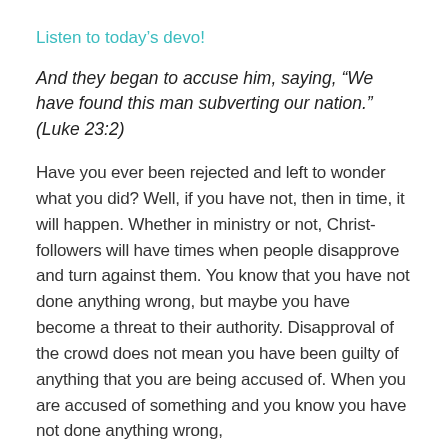Listen to today's devo!
And they began to accuse him, saying, "We have found this man subverting our nation." (Luke 23:2)
Have you ever been rejected and left to wonder what you did? Well, if you have not, then in time, it will happen. Whether in ministry or not, Christ-followers will have times when people disapprove and turn against them. You know that you have not done anything wrong, but maybe you have become a threat to their authority. Disapproval of the crowd does not mean you have been guilty of anything that you are being accused of. When you are accused of something and you know you have not done anything wrong,